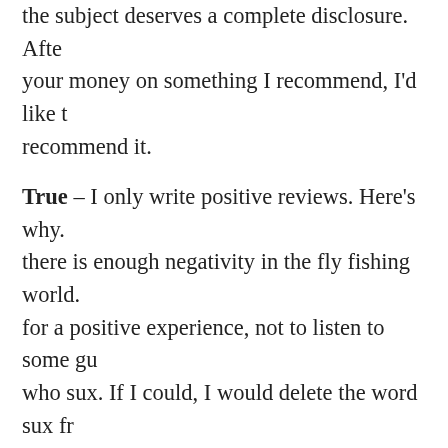the subject deserves a complete disclosure. After you spend your money on something I recommend, I'd like to know I can recommend it.
True – I only write positive reviews. Here's why. Because there is enough negativity in the fly fishing world. People come for a positive experience, not to listen to some guy tell them who sux. If I could, I would delete the word sux from the lexicon. It doesn't help anyone.
I write about products I love. That's it, pure and simple, and that's helpful. It informs you about what I believe is worth your hard-earned money. That's a lot more important than knowing what I don't like.
I don't write reviews because manufacturers give